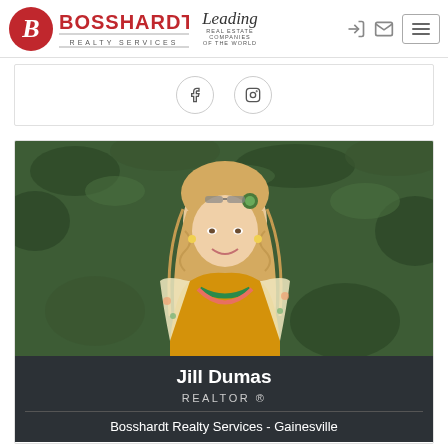[Figure (logo): Bosshardt Realty Services logo with red circle B and Leading Real Estate Companies of the World logo]
[Figure (other): Social media icons: Facebook and Instagram circular buttons]
[Figure (photo): Photo of Jill Dumas, a blonde woman wearing a yellow top and green necklace, standing in front of green foliage]
Jill Dumas
REALTOR ®
Bosshardt Realty Services - Gainesville